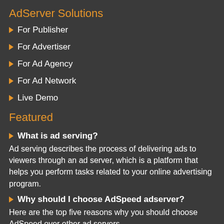AdServer Solutions
For Publisher
For Advertiser
For Ad Agency
For Ad Network
Live Demo
Featured
What is ad serving?
Ad serving describes the process of delivering ads to viewers through an ad server, which is a platform that helps you perform tasks related to your online advertising program.
Why should I choose AdSpeed adserver?
Here are the top five reasons why you should choose AdSpeed over other ad servers.
Bl